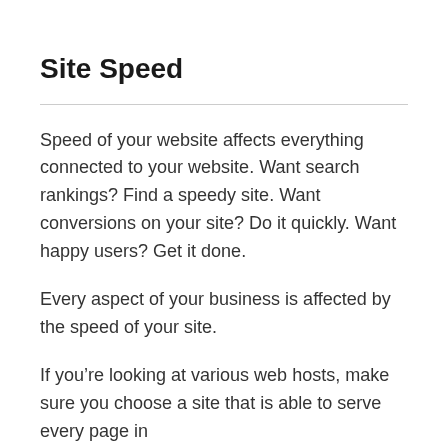Site Speed
Speed of your website affects everything connected to your website. Want search rankings? Find a speedy site. Want conversions on your site? Do it quickly. Want happy users? Get it done.
Every aspect of your business is affected by the speed of your site.
If you're looking at various web hosts, make sure you choose a site that is able to serve every page in